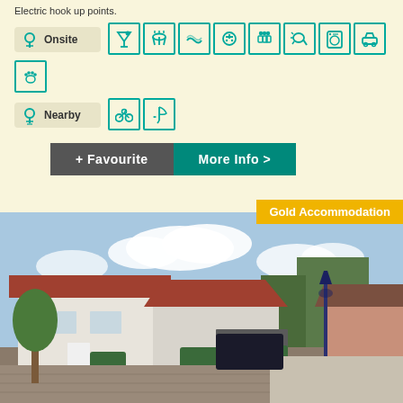Electric hook up points.
[Figure (infographic): Onsite amenity icons: location pin with 'Onsite' label, followed by icons for bar/cocktail, BBQ/grill, water/surf, electric hookup, shower/people, hairdryer, laundry, car parking, and pet-friendly paw icon]
[Figure (infographic): Nearby amenity icons: location pin with 'Nearby' label, followed by icons for cycling and fishing/activity]
[Figure (infographic): Buttons: '+ Favourite' in dark grey and 'More Info >' in teal]
Gold Accommodation
[Figure (photo): Exterior photo of a holiday accommodation showing white rendered buildings with red tiled roofs, a blue lamp post, well-maintained hedges, brick paved driveway, blue sky with clouds]